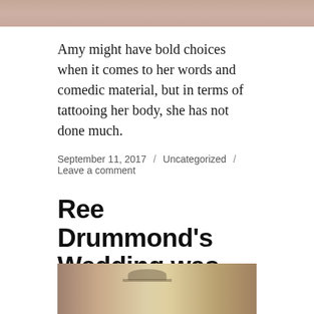[Figure (photo): Top portion of a photo showing a person, cropped at the top of the page]
Amy might have bold choices when it comes to her words and comedic material, but in terms of tattooing her body, she has not done much.
September 11, 2017 / Uncategorized / Leave a comment
Ree Drummond's Wedding was Held a Long Time Ago, but It Feels Like Yesterday
[Figure (photo): Bottom portion showing people, one wearing a cowboy hat, at what appears to be a wedding or indoor event]